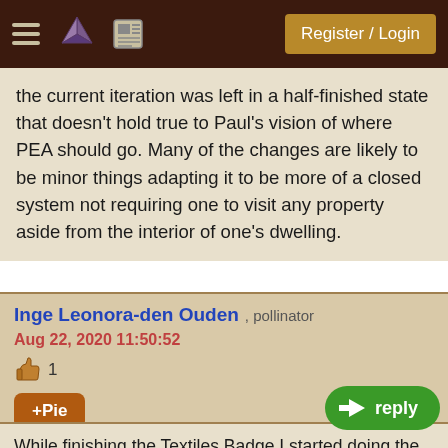Register / Login
the current iteration was left in a half-finished state that doesn't hold true to Paul's vision of where PEA should go. Many of the changes are likely to be minor things adapting it to be more of a closed system not requiring one to visit any property aside from the interior of one's dwelling.
Inge Leonora-den Ouden , pollinator
Aug 22, 2020 11:50:52
👍 1
+Pie
While finishing the Textiles Badge I started doing the Nest BBs too. Because here it said for PEA Nest is the same as in PEP.
But I found out not all BBs in Nest are possible if live in an apartment with central heating
I am lucky to live in a ground-floor apartment, with front and back yard. But in an apartment without garden it will